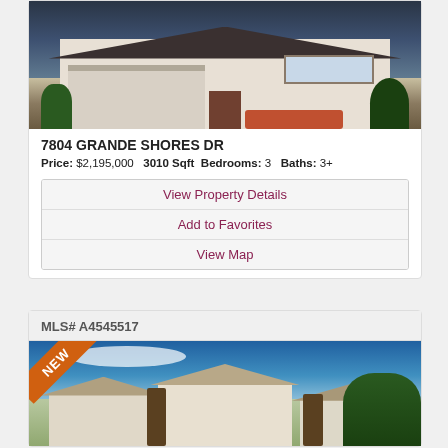[Figure (photo): Exterior photo of a modern single-story home with white stucco facade, dark roof, three-car garage, and tropical landscaping at night]
7804 GRANDE SHORES DR
Price: $2,195,000   3010 Sqft   Bedrooms: 3   Baths: 3+
View Property Details
Add to Favorites
View Map
MLS# A4545517
[Figure (photo): Exterior photo of a multi-unit luxury residential development with Mediterranean-style architecture, palm trees, and lush landscaping under blue sky with a NEW ribbon badge]